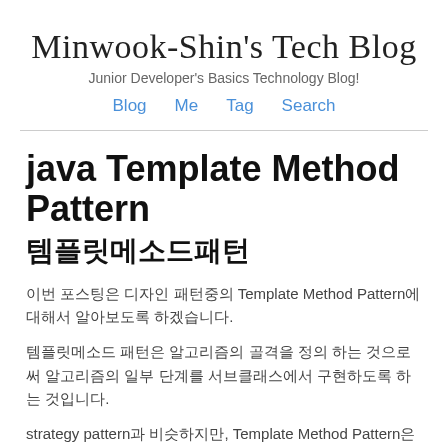Minwook-Shin's Tech Blog
Junior Developer's Basics Technology Blog!
Blog  Me  Tag  Search
java Template Method Pattern
템플릿메소드패턴
이번 포스팅은 디자인 패턴중의 Template Method Pattern에 대해서 알아보도록 하겠습니다.
템플릿메소드 패턴은 알고리즘의 골격을 정의 하는 것으로써 알고리즘의 일부 단계를 서브클래스에서 구현하도록 하는 것입니다.
strategy pattern과 비슷하지만, Template Method Pattern은 상속 기반 으로 알고리즘의 뼈대 만을 공개하되 구체적인 구현 내용은 서브클래스에 위임합니다.